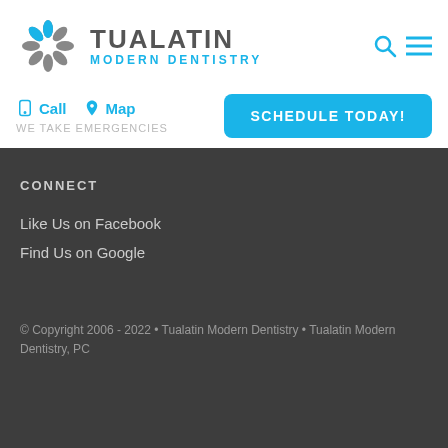[Figure (logo): Tualatin Modern Dentistry logo with starburst/snowflake icon in gray and blue, company name in gray uppercase, subtitle in blue uppercase]
Call   Map
WE TAKE EMERGENCIES
SCHEDULE TODAY!
CONNECT
Like Us on Facebook
Find Us on Google
© Copyright 2006 - 2022 • Tualatin Modern Dentistry • Tualatin Modern Dentistry, PC